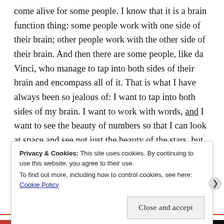come alive for some people. I know that it is a brain function thing: some people work with one side of their brain; other people work with the other side of their brain. And then there are some people, like da Vinci, who manage to tap into both sides of their brain and encompass all of it. That is what I have always been so jealous of: I want to tap into both sides of my brain. I want to work with words, and I want to see the beauty of numbers so that I can look at space and see not just the beauty of the stars, but also the beauty of reaching the stars.
“C...
Privacy & Cookies: This site uses cookies. By continuing to use this website, you agree to their use.
To find out more, including how to control cookies, see here: Cookie Policy